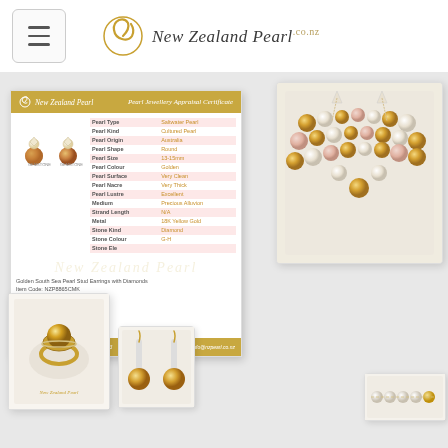New Zealand Pearl .co.nz
[Figure (photo): Pearl Jewellery Appraisal Certificate showing earring images and a table of pearl attributes (Pearl Type: Saltwater Pearl, Pearl Kind: Cultured Pearl, Pearl Origin: Australia, Pearl Shape: Round, Pearl Size: 13-15mm, Pearl Colour: Golden, Pearl Surface: Very Clean, Pearl Nacre: Very Thick, Pearl Lustre: Excellent, Medium: Precious Alluvion, Strand Length: N/A, Metal: 18K Yellow Gold, Stone Kind: Diamond, Stone Colour: G-H, Stone Ele: ...)]
[Figure (photo): White display box showing a multi-strand pearl necklace with alternating golden South Sea pearls and white Akoya pearls arranged in a V-shape on cream velvet.]
[Figure (photo): White jewelry box containing a golden South Sea pearl ring set in 18K yellow gold with diamond accents, placed on cream satin interior.]
[Figure (photo): Display showing a pair of golden South Sea pearl drop earrings on white stand.]
[Figure (photo): Flat display tray showing a white Akoya pearl bracelet with golden clasp.]